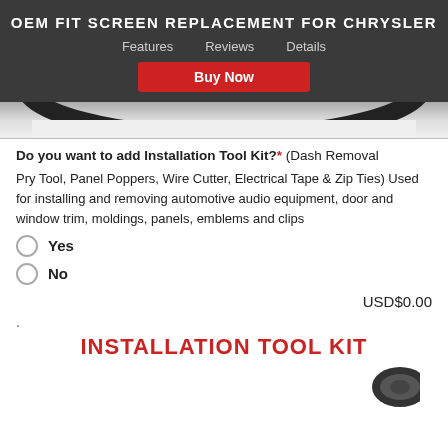OEM FIT SCREEN REPLACEMENT FOR CHRYSLER
Features   Reviews   Details
Buy Now
[Figure (photo): Partial view of a circular screen bezel/ring, dark colored, shown at top of page]
Do you want to add Installation Tool Kit?* (Dash Removal Pry Tool, Panel Poppers, Wire Cutter, Electrical Tape & Zip Ties) Used for installing and removing automotive audio equipment, door and window trim, moldings, panels, emblems and clips
Yes
No
USD$0.00
.
INSTALLATION TOOL KIT
[Figure (photo): Partial view of dark automotive tool/component at bottom right]